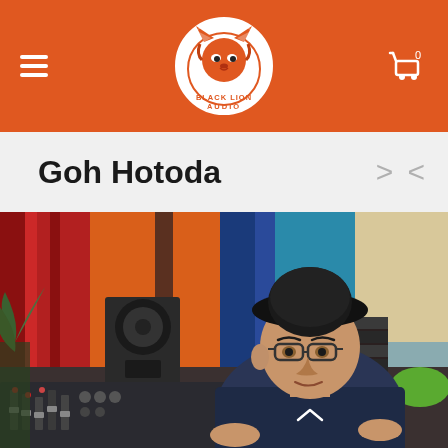Black Lion Audio — navigation header with logo
Goh Hotoda
[Figure (photo): Photo of Goh Hotoda, a man wearing a black hat and dark t-shirt, sitting at a mixing console in a recording studio. The studio has colorful acoustic panels in orange, red, and blue in the background, along with studio monitors and audio equipment.]